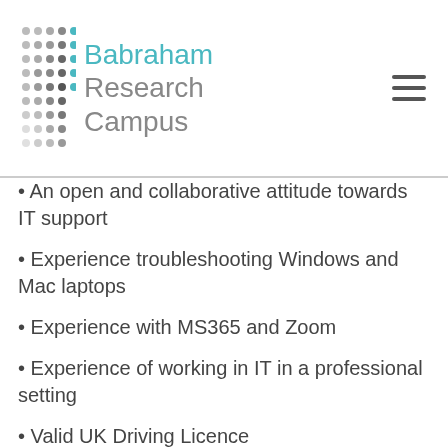Babraham Research Campus
An open and collaborative attitude towards IT support
Experience troubleshooting Windows and Mac laptops
Experience with MS365 and Zoom
Experience of working in IT in a professional setting
Valid UK Driving Licence
Desirable
Experience with monitoring and maintaining Cisco Meraki networks